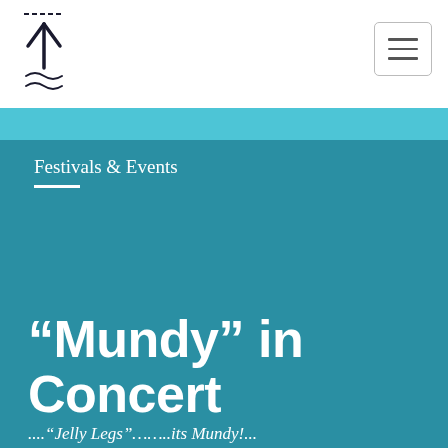[Figure (logo): Y-shaped logo mark with horizontal lines above and wave lines below, in dark navy/black]
[Figure (other): Hamburger menu button (three horizontal lines) in a rounded rectangle border]
Festivals & Events
“Mundy” in Concert
....“Jelly Legs”……..its Mundy!...